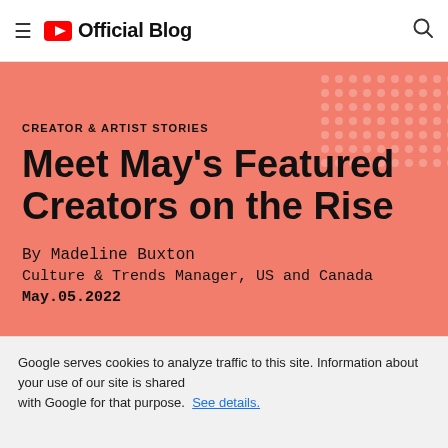YouTube Official Blog
CREATOR & ARTIST STORIES
Meet May's Featured Creators on the Rise
By Madeline Buxton
Culture & Trends Manager, US and Canada
May.05.2022
[Figure (screenshot): Social sharing icons: Facebook, Twitter, link]
Google serves cookies to analyze traffic to this site. Information about your use of our site is shared with Google for that purpose. See details.
OK
Emerging creators share how they find fresh inspiration.